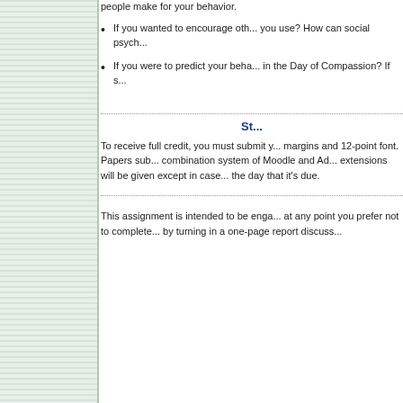If you wanted to encourage others to participate in the Day of Compassion, what strategies would you use? How can social psychology inform those strategies?
If you were to predict your behavior, do you think you would notice others in need in the Day of Compassion? If so, would you help?
St...
To receive full credit, you must submit your paper in APA format with 1-inch margins and 12-point font. Papers submitted via the course's combination system of Moodle and Ade... extensions will be given except in case... the day that it's due.
This assignment is intended to be enga... at any point you prefer not to complete... by turning in a one-page report discuss...